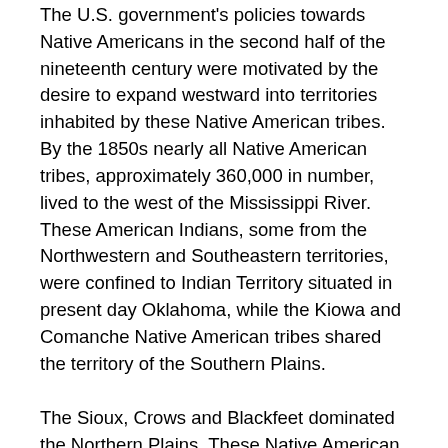The U.S. government's policies towards Native Americans in the second half of the nineteenth century were motivated by the desire to expand westward into territories inhabited by these Native American tribes. By the 1850s nearly all Native American tribes, approximately 360,000 in number, lived to the west of the Mississippi River. These American Indians, some from the Northwestern and Southeastern territories, were confined to Indian Territory situated in present day Oklahoma, while the Kiowa and Comanche Native American tribes shared the territory of the Southern Plains.
The Sioux, Crows and Blackfeet dominated the Northern Plains. These Native American groups met adversity as the continuous flow of European immigrants into northeastern American cities delivered a stream of immigrants into the western lands already inhabited by these various groups of Indians.